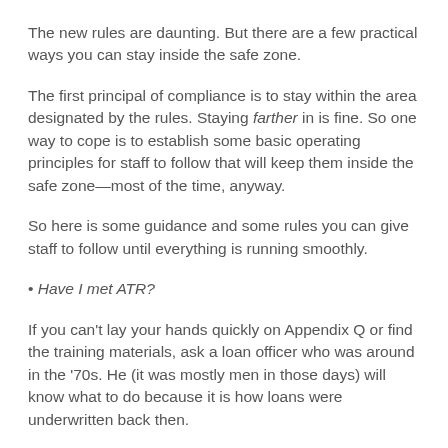The new rules are daunting. But there are a few practical ways you can stay inside the safe zone.
The first principal of compliance is to stay within the area designated by the rules. Staying farther in is fine. So one way to cope is to establish some basic operating principles for staff to follow that will keep them inside the safe zone—most of the time, anyway.
So here is some guidance and some rules you can give staff to follow until everything is running smoothly.
• Have I met ATR?
If you can't lay your hands quickly on Appendix Q or find the training materials, ask a loan officer who was around in the '70s. He (it was mostly men in those days) will know what to do because it is how loans were underwritten back then.